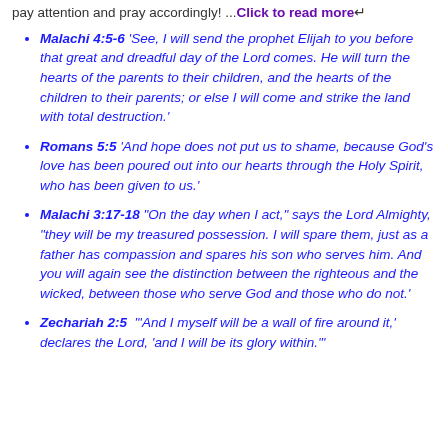pay attention and pray accordingly! ...Click to read more↵
Malachi 4:5-6 'See, I will send the prophet Elijah to you before that great and dreadful day of the Lord comes. He will turn the hearts of the parents to their children, and the hearts of the children to their parents; or else I will come and strike the land with total destruction.'
Romans 5:5 'And hope does not put us to shame, because God's love has been poured out into our hearts through the Holy Spirit, who has been given to us.'
Malachi 3:17-18 '"On the day when I act," says the Lord Almighty, "they will be my treasured possession. I will spare them, just as a father has compassion and spares his son who serves him. And you will again see the distinction between the righteous and the wicked, between those who serve God and those who do not.'
Zechariah 2:5  '"And I myself will be a wall of fire around it,' declares the Lord, 'and I will be its glory within.'"